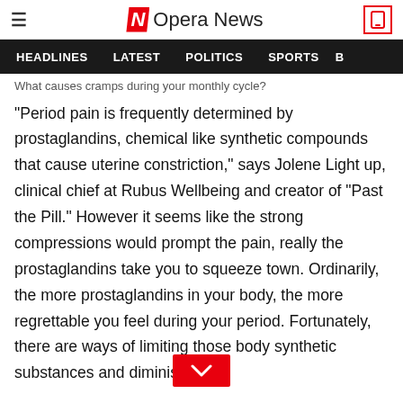Opera News
HEADLINES   LATEST   POLITICS   SPORTS
What causes cramps during your monthly cycle?
"Period pain is frequently determined by prostaglandins, chemical like synthetic compounds that cause uterine constriction," says Jolene Light up, clinical chief at Rubus Wellbeing and creator of "Past the Pill." However it seems like the strong compressions would prompt the pain, really the prostaglandins take you to squeeze town. Ordinarily, the more prostaglandins in your body, the more regrettable you feel during your period. Fortunately, there are ways of limiting those body synthetic substances and diminish your